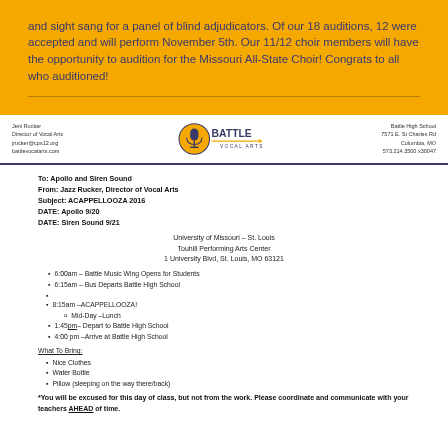and sight sang for a panel of blind adjudicators. Of our 18 auditions, 12 were accepted and will perform November 5th. Our 11/12 choir members will have the opportunity to audition for the Missouri All-State Choir! Congrats to all who auditioned!
[Figure (logo): Battle Vocal Arts logo with microphone icon in yellow circle and arrow]
Jeni Rucker
Director of Vocal Arts
jrucker@cps12.org
battlevocalarts.com
Battle High School
7571 E. St Charles Rd
Columbia, MO
573.214.3500 x30047
To: Apollo and Siren Sound
From: Jazz Rucker, Director of Vocal Arts
Subject: ACAPPELLOOZA 2016
DATE: Apollo 9/20
DATE: Siren Sound 9/21
University of Missouri – St. Louis
Touhill Performing Arts Center
1 University Blvd, St. Louis, MO 63121
6:00am – Battle Music Wing Opens for Students
6:15am – Bus Departs Battle High School
8:15am –ACAPPELLOOZA!
  o  Mid-Day –Lunch
1:45pm – Depart to Battle High School
4:00 pm –Arrive at Battle High School
What To Bring:
Nice Clothes
Water Bottle
Pillow (sleeping on the way there/back)
*You will be excused for this day of class, but not from the work. Please coordinate and communicate with your teachers AHEAD of time.